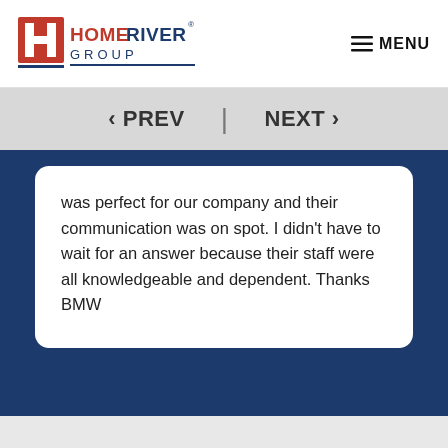[Figure (logo): HomeRiver Group logo with red H emblem and company name]
≡ MENU
‹ PREV  |  NEXT ›
was perfect for our company and their communication was on spot. I didn't have to wait for an answer because their staff were all knowledgeable and dependent. Thanks BMW